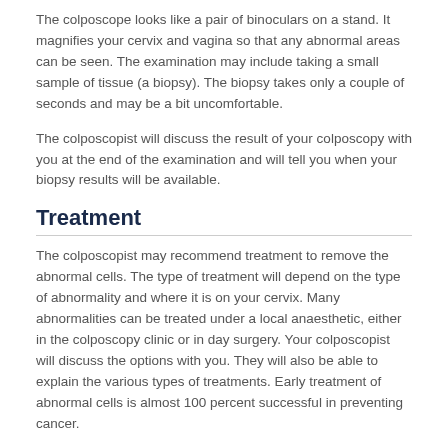The colposcope looks like a pair of binoculars on a stand. It magnifies your cervix and vagina so that any abnormal areas can be seen. The examination may include taking a small sample of tissue (a biopsy). The biopsy takes only a couple of seconds and may be a bit uncomfortable.
The colposcopist will discuss the result of your colposcopy with you at the end of the examination and will tell you when your biopsy results will be available.
Treatment
The colposcopist may recommend treatment to remove the abnormal cells. The type of treatment will depend on the type of abnormality and where it is on your cervix. Many abnormalities can be treated under a local anaesthetic, either in the colposcopy clinic or in day surgery. Your colposcopist will discuss the options with you. They will also be able to explain the various types of treatments. Early treatment of abnormal cells is almost 100 percent successful in preventing cancer.
Ma te mōhio ka ora
Knowledge improves health and well-being